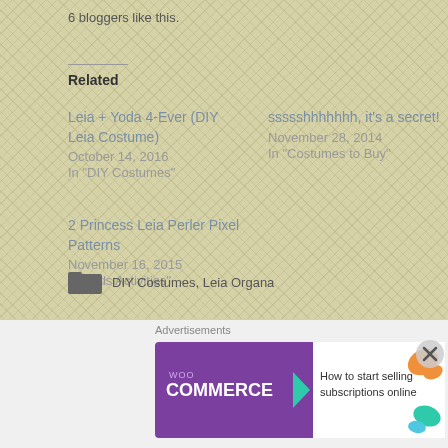6 bloggers like this.
Related
Leia + Yoda 4-Ever (DIY Leia Costume)
October 14, 2016
In "DIY Costumes"
ssssshhhhhhh, it's a secret!
November 28, 2014
In "Costumes to Buy"
2 Princess Leia Perler Pixel Patterns
November 16, 2015
In "Kids Activities"
DIY Costumes, Leia Organa
Advertisements
[Figure (screenshot): WooCommerce advertisement banner: purple background with WooCommerce logo on left, teal arrow, and text 'How to start selling subscriptions online' on white right panel with orange and teal decorative swirls]